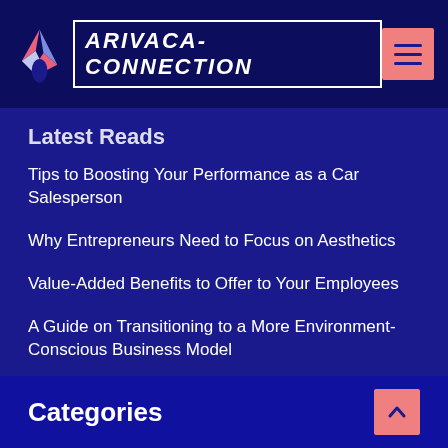ARIVACA-CONNECTION
Latest Reads
Tips to Boosting Your Performance as a Car Salesperson
Why Entrepreneurs Need to Focus on Aesthetics
Value-Added Benefits to Offer to Your Employees
A Guide on Transitioning to a More Environment-Conscious Business Model
Categories